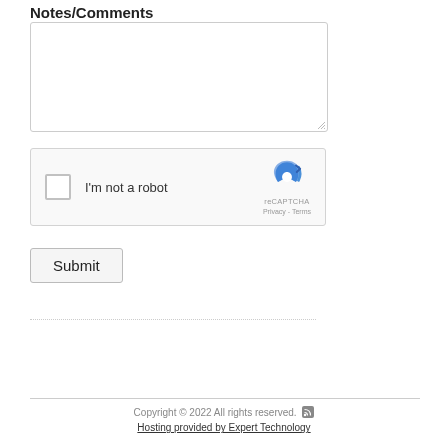Notes/Comments
[Figure (screenshot): Empty textarea input box for Notes/Comments]
[Figure (screenshot): reCAPTCHA widget with checkbox labeled 'I'm not a robot', reCAPTCHA logo, Privacy and Terms links]
[Figure (screenshot): Submit button]
Copyright © 2022 All rights reserved.  Hosting provided by Expert Technology